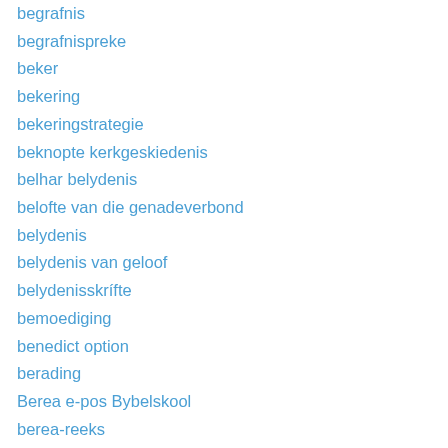begrafnis
begrafnispreke
beker
bekering
bekeringstrategie
beknopte kerkgeskiedenis
belhar belydenis
belofte van die genadeverbond
belydenis
belydenis van geloof
belydenisskrífte
bemoediging
benedict option
berading
Berea e-pos Bybelskool
berea-reeks
berg
bergrede
beskik
besonder ampte/dienste